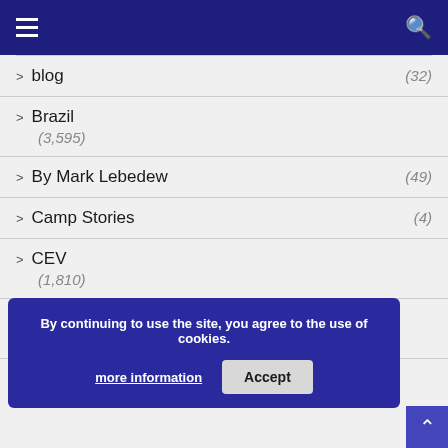Navigation menu header bar
> blog (32)
> Brazil (3,595)
> By Mark Lebedew (49)
> Camp Stories (4)
> CEV (1,810)
> Did You Know? (29)
> Done deals (3,602)
By continuing to use the site, you agree to the use of cookies. more information Accept